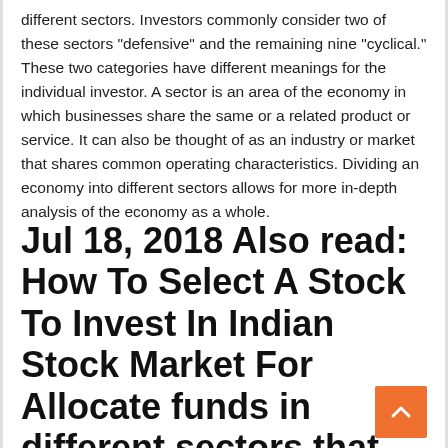different sectors. Investors commonly consider two of these sectors “defensive” and the remaining nine “cyclical.” These two categories have different meanings for the individual investor. A sector is an area of the economy in which businesses share the same or a related product or service. It can also be thought of as an industry or market that shares common operating characteristics. Dividing an economy into different sectors allows for more in-depth analysis of the economy as a whole.
Jul 18, 2018 Also read: How To Select A Stock To Invest In Indian Stock Market For Allocate funds in different sectors that you believe will grow -so that the